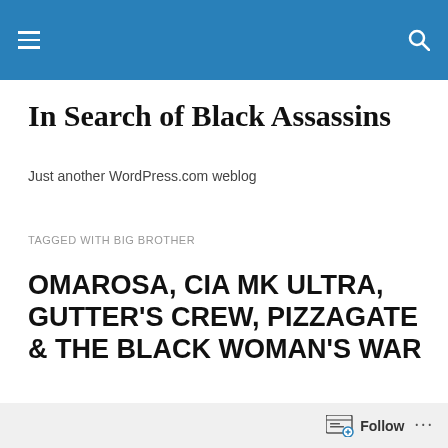In Search of Black Assassins — site navigation header bar
In Search of Black Assassins
Just another WordPress.com weblog
TAGGED WITH BIG BROTHER
OMAROSA, CIA MK ULTRA, GUTTER'S CREW, PIZZAGATE & THE BLACK WOMAN'S WAR
|
Follow